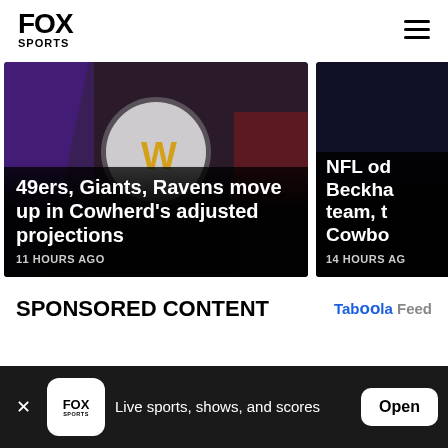FOX SPORTS
[Figure (screenshot): Sports news card showing football helmets/logos with headline: 49ers, Giants, Ravens move up in Cowherd's adjusted projections, 11 HOURS AGO]
[Figure (screenshot): Partially visible sports news card with headline starting: NFL od Beckha team, t Cowbo, 14 HOURS AG]
SPONSORED CONTENT
Taboola Feed
Live sports, shows, and scores